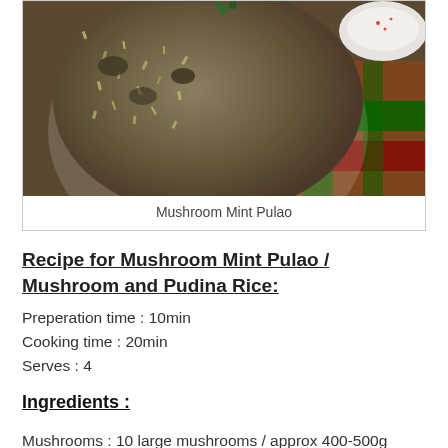[Figure (photo): A bowl of Mushroom Mint Pulao (mushroom and rice dish) served in a white bowl on a colorful plaid cloth, with a small white bowl of sauce visible in the upper right]
Mushroom Mint Pulao
Recipe for Mushroom Mint Pulao / Mushroom and Pudina Rice:
Preperation time : 10min
Cooking time : 20min
Serves : 4
Ingredients :
Mushrooms : 10 large mushrooms / approx 400-500g
Basmati rice : 2cups, rinse and soak for 10 min then drain